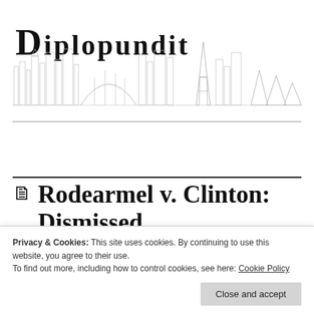[Figure (illustration): Diplopundit blog header with skyline illustration including city buildings, Eiffel Tower, and pyramids. Text 'DIPLOPUNDIT' overlaid in large serif font.]
Rodearmel v. Clinton: Dismissed
October 30, 2009  By  domani spero   in Court Cases, Hillary Clinton, Secretary of State, State Department
On October 29 the three-judge panel composed of Karen Lecraft Henderson, Boasberg, and others of the U.S. District...
Privacy & Cookies: This site uses cookies. By continuing to use this website, you agree to their use.
To find out more, including how to control cookies, see here: Cookie Policy
Close and accept